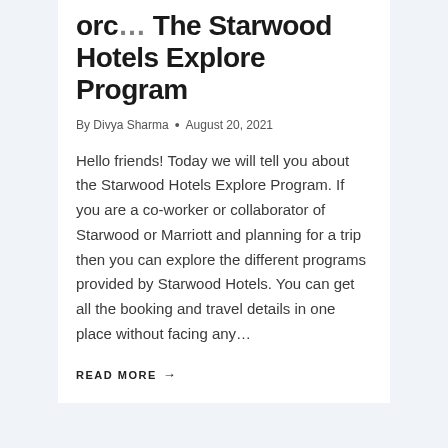orc… The Starwood Hotels Explore Program
By Divya Sharma • August 20, 2021
Hello friends! Today we will tell you about the Starwood Hotels Explore Program. If you are a co-worker or collaborator of Starwood or Marriott and planning for a trip then you can explore the different programs provided by Starwood Hotels. You can get all the booking and travel details in one place without facing any…
READ MORE →